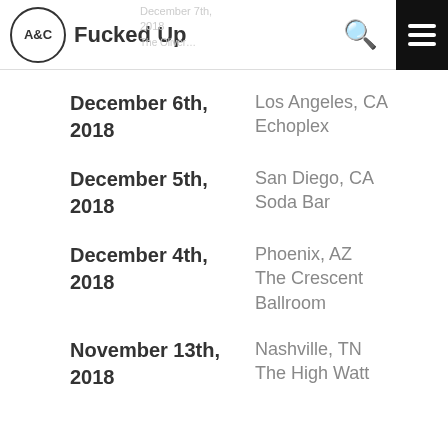A&C | Fucked Up
December 6th, 2018 | Los Angeles, CA | Echoplex
December 5th, 2018 | San Diego, CA | Soda Bar
December 4th, 2018 | Phoenix, AZ | The Crescent Ballroom
November 13th, 2018 | Nashville, TN | The High Watt
November 12th, 2018 | Atlanta, GA | The Masquerade